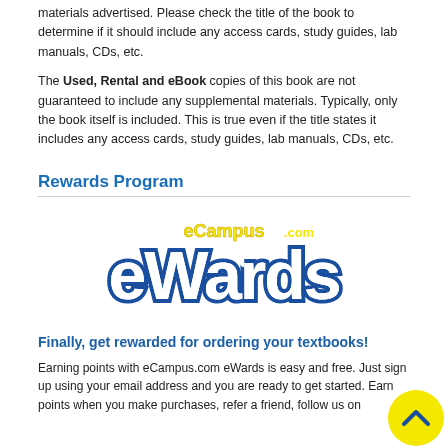materials advertised. Please check the title of the book to determine if it should include any access cards, study guides, lab manuals, CDs, etc.
The Used, Rental and eBook copies of this book are not guaranteed to include any supplemental materials. Typically, only the book itself is included. This is true even if the title states it includes any access cards, study guides, lab manuals, CDs, etc.
Rewards Program
[Figure (logo): eCampus.com eWards logo — 'eCampus.com' in yellow text above large bold blue 'eWards' text with white interior and dark blue outline]
Finally, get rewarded for ordering your textbooks!
Earning points with eCampus.com eWards is easy and free. Just sign up using your email address and you are ready to get started. Earn points when you make purchases, refer a friend, follow us on